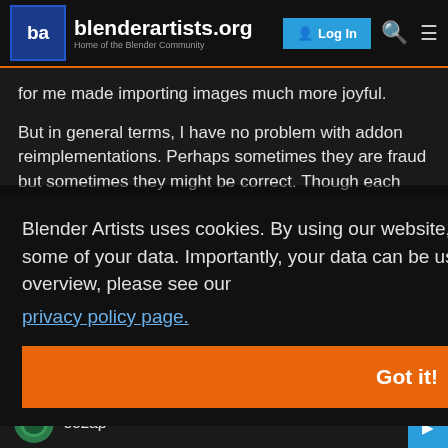[Figure (screenshot): blenderartists.org website header with logo, Log In button, search and menu icons]
for me made importing images much more joyful.
But in general terms, I have no problem with addon reimplementations. Perhaps sometimes they are fraud but sometimes they might be correct. Though each addon creator...
Blender Artists uses cookies. By using our website, our partners will also be able to collect some of your data. Importantly, your data can be used to personalise ads. For a detailed overview, please see our
privacy policy page.
Got it!
sozap